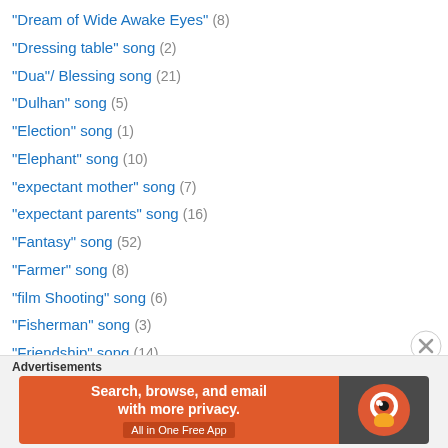"Dream of Wide Awake Eyes" (8)
"Dressing table" song (2)
"Dua"/ Blessing song (21)
"Dulhan" song (5)
"Election" song (1)
"Elephant" song (10)
"expectant mother" song (7)
"expectant parents" song (16)
"Fantasy" song (52)
"Farmer" song (8)
"film Shooting" song (6)
"Fisherman" song (3)
"Friendship" song (14)
"Fun on Sea" song (2)
"gaagri" song (5)
"Ganga" song (25)
[Figure (infographic): DuckDuckGo advertisement banner: 'Search, browse, and email with more privacy. All in One Free App' with DuckDuckGo logo on dark background.]